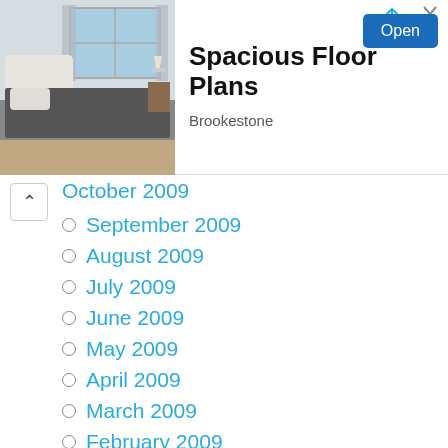[Figure (photo): Bedroom interior photo showing a bed with grey bedding, white tufted headboard, nightstand with lamp, and window with natural light.]
Spacious Floor Plans
Open
Brookestone
October 2009
September 2009
August 2009
July 2009
June 2009
May 2009
April 2009
March 2009
February 2009
January 2009
December 2008
November 2008
October 2008
September 2008
August 2008